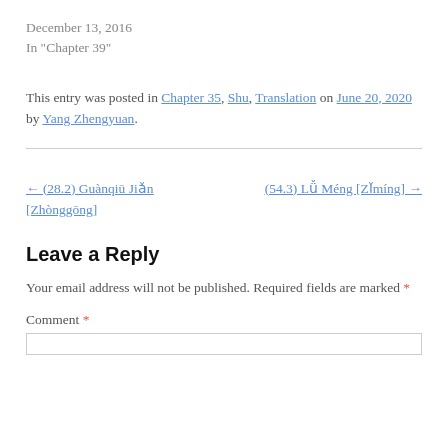December 13, 2016
In "Chapter 39"
This entry was posted in Chapter 35, Shu, Translation on June 20, 2020 by Yang Zhengyuan.
← (28.2) Guànqiū Jiǎn [Zhònggōng]
(54.3) Lǚ Méng [Zǐmíng] →
Leave a Reply
Your email address will not be published. Required fields are marked *
Comment *